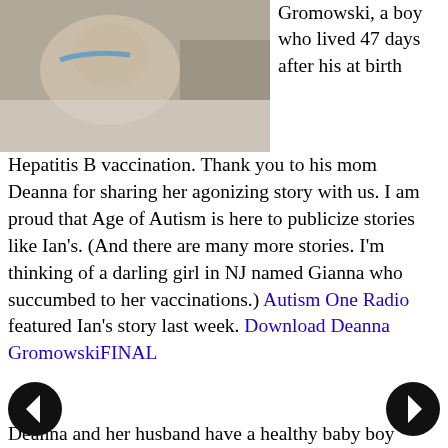[Figure (photo): Photo of an infant in a hospital setting with medical tubes and equipment]
Gromowski, a boy who lived 47 days after his at birth Hepatitis B vaccination. Thank you to his mom Deanna for sharing her agonizing story with us. I am proud that Age of Autism is here to publicize stories like Ian's. (And there are many more stories. I'm thinking of a darling girl in NJ named Gianna who succumbed to her vaccinations.) Autism One Radio featured Ian's story last week. Download Deanna GromowskiFINAL
Deanna and her husband have a healthy baby boy named Vance. Deanna is now battling thyroid cancer. You can read more of Ian's story here: www.iansvoice.org.